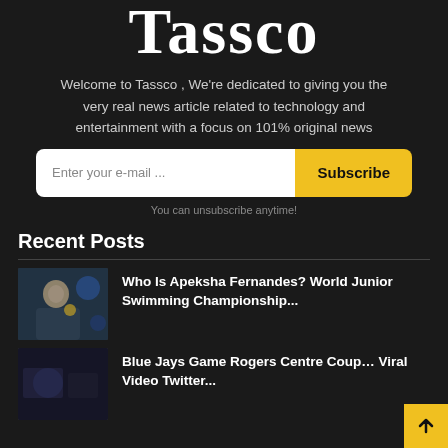Tassco
Welcome to Tassco , We're dedicated to giving you the very real news article related to technology and entertainment with a focus on 101% original news
Enter your e-mail ... Subscribe
You can unsubscribe anytime!
Recent Posts
Who Is Apeksha Fernandes? World Junior Swimming Championship...
Blue Jays Game Rogers Centre Couple Viral Video Twitter...